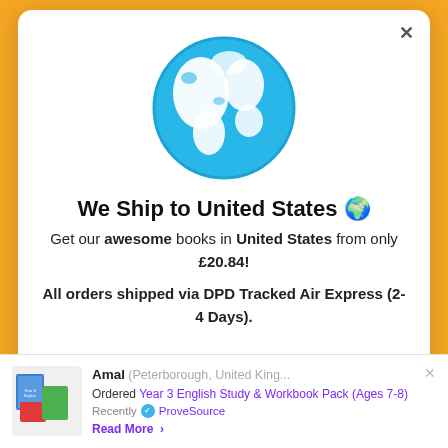[Figure (illustration): Blue globe/earth icon on white modal background]
We Ship to United States 🌍
Get our awesome books in United States from only £20.84!
All orders shipped via DPD Tracked Air Express (2-4 Days).
Amal (Peterborough, United King... Ordered Year 3 English Study & Workbook Pack (Ages 7-8) Recently ✅ ProveSource Read More >